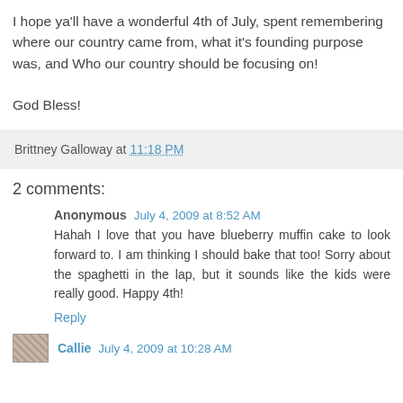I hope ya'll have a wonderful 4th of July, spent remembering where our country came from, what it's founding purpose was, and Who our country should be focusing on!

God Bless!
Brittney Galloway at 11:18 PM
2 comments:
Anonymous  July 4, 2009 at 8:52 AM
Hahah I love that you have blueberry muffin cake to look forward to. I am thinking I should bake that too! Sorry about the spaghetti in the lap, but it sounds like the kids were really good. Happy 4th!
Reply
Callie  July 4, 2009 at 10:28 AM